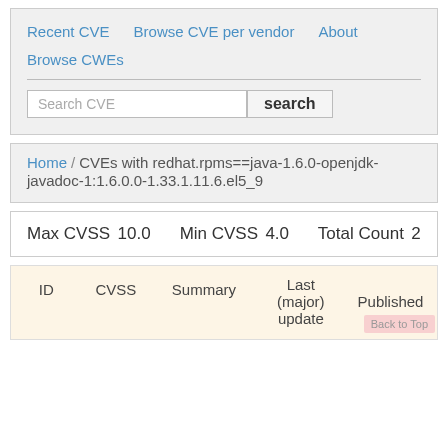Recent CVE
Browse CVE per vendor
About
Browse CWEs
Search CVE
Home / CVEs with redhat.rpms==java-1.6.0-openjdk-javadoc-1:1.6.0.0-1.33.1.11.6.el5_9
| Max CVSS | Min CVSS | Total Count |
| --- | --- | --- |
| 10.0 | 4.0 | 2 |
| ID | CVSS | Summary | Last (major) update | Published |
| --- | --- | --- | --- | --- |